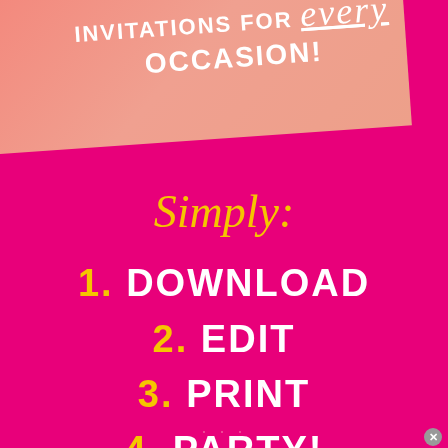INVITATIONS FOR every OCCASION!
Simply:
1. DOWNLOAD
2. EDIT
3. PRINT
4. PARTY!